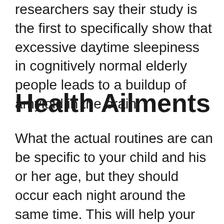researchers say their study is the first to specifically show that excessive daytime sleepiness in cognitively normal elderly people leads to a buildup of amyloid in the brain.
Health Ailments
What the actual routines are can be specific to your child and his or her age, but they should occur each night around the same time. This will help your child understand that it's time to settle down and get ready to sleep. Drugs.com provides accurate and independent information on more than 24,000 prescription drugs, over-the-counter medicines and natural products. This material is provided for educational purposes